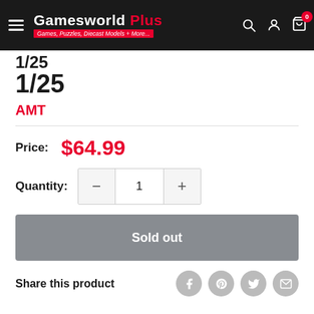Gamesworld Plus — Games, Puzzles, Diecast Models + More...
1/25
AMT
Price: $64.99
Quantity: 1
Sold out
Share this product